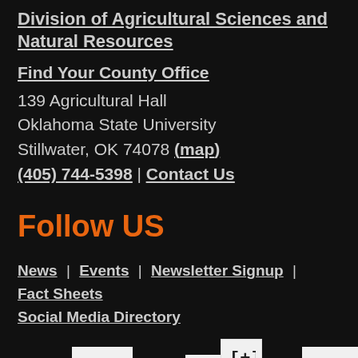Division of Agricultural Sciences and Natural Resources
Find Your County Office
139 Agricultural Hall
Oklahoma State University
Stillwater, OK 74078 (map)
(405) 744-5398 | Contact Us
Follow US
News | Events | Newsletter Signup | Fact Sheets
Social Media Directory
[Figure (illustration): Social media icons: Facebook, Twitter (with overlay plus/add icon), and Instagram, displayed as white square icon boxes on dark background]